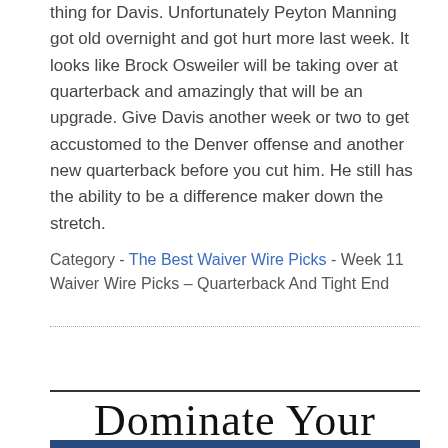thing for Davis. Unfortunately Peyton Manning got old overnight and got hurt more last week. It looks like Brock Osweiler will be taking over at quarterback and amazingly that will be an upgrade. Give Davis another week or two to get accustomed to the Denver offense and another new quarterback before you cut him. He still has the ability to be a difference maker down the stretch.
Category - The Best Waiver Wire Picks - Week 11 Waiver Wire Picks – Quarterback And Tight End
Dominate Your League